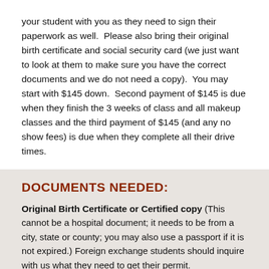your student with you as they need to sign their paperwork as well.  Please also bring their original birth certificate and social security card (we just want to look at them to make sure you have the correct documents and we do not need a copy).  You may start with $145 down.  Second payment of $145 is due when they finish the 3 weeks of class and all makeup classes and the third payment of $145 (and any no show fees) is due when they complete all their drive times.
DOCUMENTS NEEDED:
Original Birth Certificate or Certified copy (This cannot be a hospital document; it needs to be from a city, state or county; you may also use a passport if it is not expired.) Foreign exchange students should inquire with us what they need to get their permit.